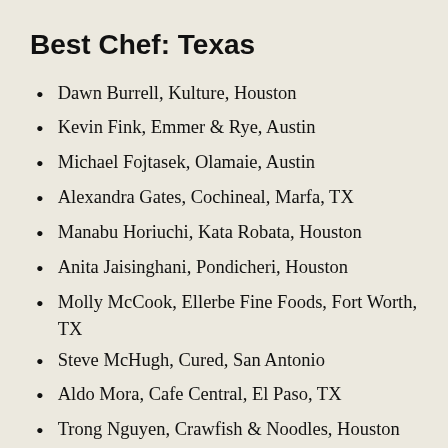Best Chef: Texas
Dawn Burrell, Kulture, Houston
Kevin Fink, Emmer & Rye, Austin
Michael Fojtasek, Olamaie, Austin
Alexandra Gates, Cochineal, Marfa, TX
Manabu Horiuchi, Kata Robata, Houston
Anita Jaisinghani, Pondicheri, Houston
Molly McCook, Ellerbe Fine Foods, Fort Worth, TX
Steve McHugh, Cured, San Antonio
Aldo Mora, Cafe Central, El Paso, TX
Trong Nguyen, Crawfish & Noodles, Houston
Misti Norris, Petra and the Beast, Dallas
Alex Paredes, Carnitas Lonja, San Antonio
Esaul Ramos, 2M Smokehouse, San Antonio